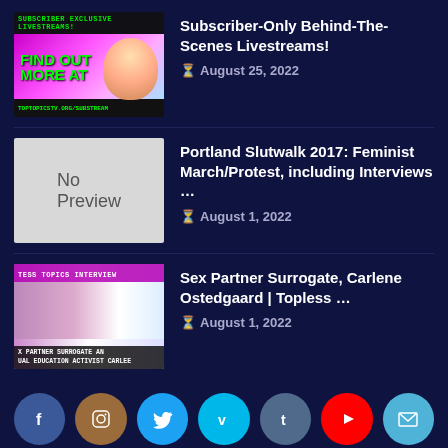[Figure (screenshot): Thumbnail image for Subscriber-Only Behind-The-Scenes Livestreams video with pink/purple background and green text]
Subscriber-Only Behind-The-Scenes Livestreams!
August 25, 2022
[Figure (screenshot): No Preview placeholder thumbnail in gray]
Portland Slutwalk 2017: Feminist March/Protest, including Interviews …
August 1, 2022
[Figure (screenshot): Thumbnail for Sex Partner Surrogate, Carlene Ostedgaard interview video]
Sex Partner Surrogate, Carlene Ostedgaard | Topless …
August 1, 2022
[Figure (infographic): Social media icon buttons: Facebook, Instagram, Twitter, Vimeo, Tumblr, YouTube, Email]
LATEST TWEETS FROM @TOPLESSTOPICS